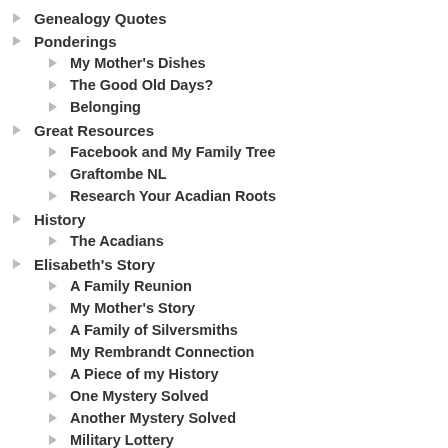Genealogy Quotes
Ponderings
My Mother's Dishes
The Good Old Days?
Belonging
Great Resources
Facebook and My Family Tree
Graftombe NL
Research Your Acadian Roots
History
The Acadians
Elisabeth's Story
A Family Reunion
My Mother's Story
A Family of Silversmiths
My Rembrandt Connection
A Piece of my History
One Mystery Solved
Another Mystery Solved
Military Lottery